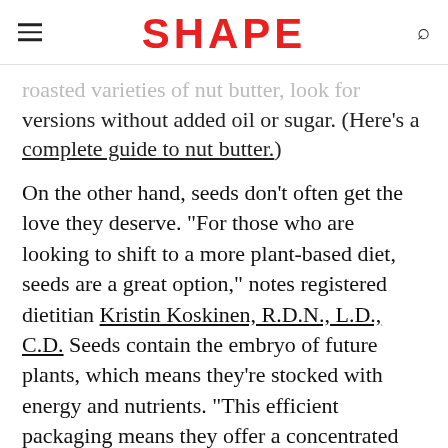SHAPE
roasted varieties of nut butter, look for versions without added oil or sugar. (Here's a complete guide to nut butter.)
On the other hand, seeds don't often get the love they deserve. "For those who are looking to shift to a more plant-based diet, seeds are a great option," notes registered dietitian Kristin Koskinen, R.D.N., L.D., C.D. Seeds contain the embryo of future plants, which means they're stocked with energy and nutrients. "This efficient packaging means they offer a concentrated amount of calories. It's easy to overdo it when choosing seeds for a snack or as an addition to a smoothie, so be mindful